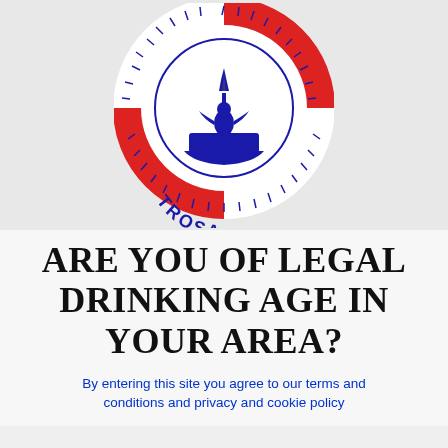[Figure (logo): TROSA circular logo with red and white life preserver ring, blue nautical figure in a boat with a torch/flame, and the text TROSA on the bottom of the ring]
ARE YOU OF LEGAL DRINKING AGE IN YOUR AREA?
By entering this site you agree to our terms and conditions and privacy and cookie policy